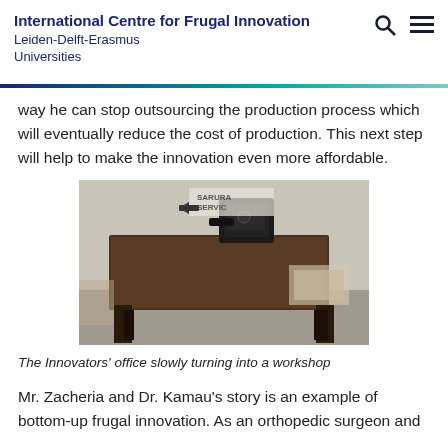International Centre for Frugal Innovation Leiden-Delft-Erasmus Universities
way he can stop outsourcing the production process which will eventually reduce the cost of production. This next step will help to make the innovation even more affordable.
[Figure (photo): A wooden table with a sewing machine on top, in a room with construction materials around, representing the innovator's office turning into a workshop.]
The Innovators' office slowly turning into a workshop
Mr. Zacheria and Dr. Kamau's story is an example of bottom-up frugal innovation. As an orthopedic surgeon and